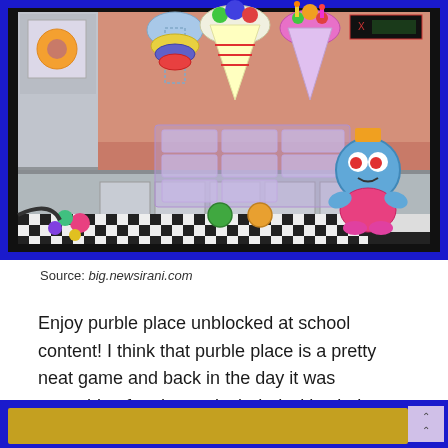[Figure (screenshot): Screenshot of Purble Place game showing a bakery/cake-making game scene with a character, ingredient dispensers, ingredient selection panels, a checkered floor, and counter on a blue-bordered background]
Source: big.newsirani.com
Enjoy purble place unblocked at school content! I think that purble place is a pretty neat game and back in the day it was something fun that as included with windows.
[Figure (screenshot): Partial screenshot of another Purble Place game scene visible at the bottom of the page]